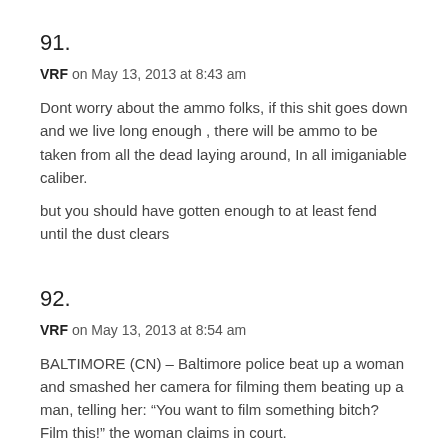91.
VRF on May 13, 2013 at 8:43 am
Dont worry about the ammo folks, if this shit goes down and we live long enough , there will be ammo to be taken from all the dead laying around, In all imiganiable caliber.
but you should have gotten enough to at least fend until the dust clears
92.
VRF on May 13, 2013 at 8:54 am
BALTIMORE (CN) – Baltimore police beat up a woman and smashed her camera for filming them beating up a man, telling her: “You want to film something bitch? Film this!” the woman claims in court. Makia Smith sued the Baltimore Police Department,